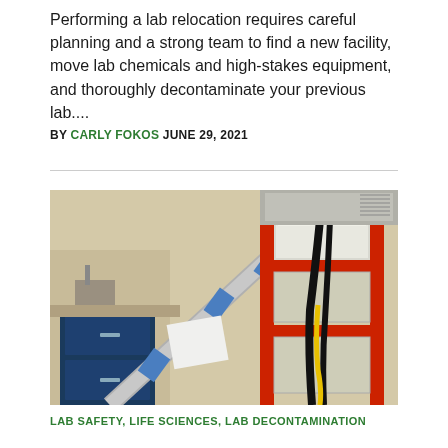Performing a lab relocation requires careful planning and a strong team to find a new facility, move lab chemicals and high-stakes equipment, and thoroughly decontaminate your previous lab....
BY CARLY FOKOS JUNE 29, 2021
[Figure (photo): Laboratory relocation scene showing lab equipment being moved, including a fume hood with red frame secured with blue tape, black cables, and lab cabinetry in the background.]
LAB SAFETY, LIFE SCIENCES, LAB DECONTAMINATION